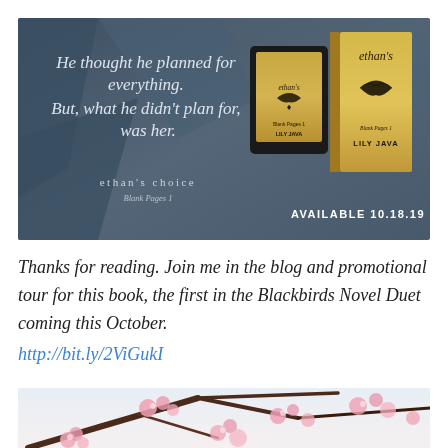[Figure (illustration): Book promotional banner for 'ethan's choice – Blank Pages 1' by Lily Java. Dark blue-grey geometric background with text: 'He thought he planned for everything. But, what he didn't plan for, was her.' Shows tablet and book cover with golden bird design. Text: AVAILABLE 10.18.19]
Thanks for reading. Join me in the blog and promotional tour for this book, the first in the Blackbirds Novel Duet coming this October.
http://bit.ly/2ViGukI
[Figure (photo): Cherry blossom tree branches with pink flowers against a bright sky, partial view at bottom of page]